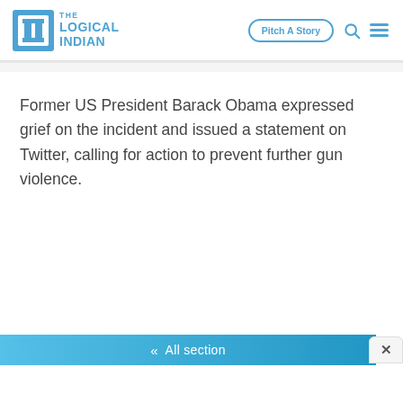[Figure (logo): The Logical Indian logo with blue square bracket icon and blue text reading THE LOGICAL INDIAN]
Pitch A Story
Former US President Barack Obama expressed grief on the incident and issued a statement on Twitter, calling for action to prevent further gun violence.
All section